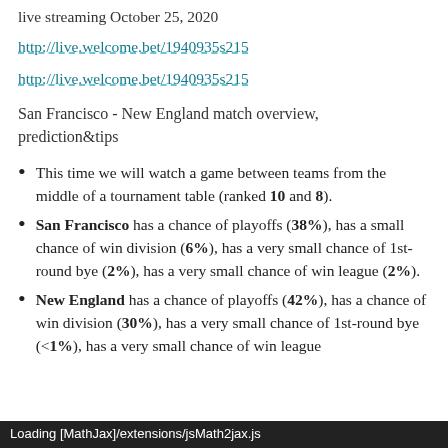live streaming October 25, 2020
http://live.welcome.bet/1940935s215
http://live.welcome.bet/1940935s215
San Francisco - New England match overview, prediction&tips
This time we will watch a game between teams from the middle of a tournament table (ranked 10 and 8).
San Francisco has a chance of playoffs (38%), has a small chance of win division (6%), has a very small chance of 1st-round bye (2%), has a very small chance of win league (2%).
New England has a chance of playoffs (42%), has a chance of win division (30%), has a very small chance of 1st-round bye (<1%), has a very small chance of win league
Loading [MathJax]/extensions/jsMath2jax.js